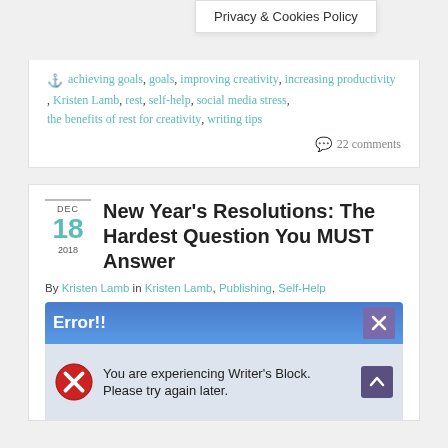Privacy & Cookies Policy
achieving goals, goals, improving creativity, increasing productivity, Kristen Lamb, rest, self-help, social media stress, the benefits of rest for creativity, writing tips
22 comments
New Year's Resolutions: The Hardest Question You MUST Answer
By Kristen Lamb in Kristen Lamb, Publishing, Self-Help
[Figure (screenshot): Error dialog box with blue title bar reading 'Error!!' and a close X button, white body with red X error icon and text 'You are experiencing Writer's Block. Please try again later.']